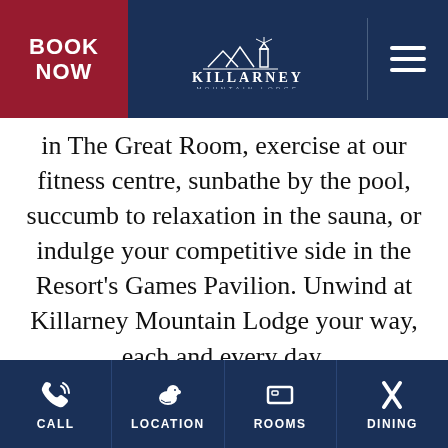BOOK NOW | KILLARNEY MOUNTAIN LODGE
in The Great Room, exercise at our fitness centre, sunbathe by the pool, succumb to relaxation in the sauna, or indulge your competitive side in the Resort's Games Pavilion. Unwind at Killarney Mountain Lodge your way, each and every day.
[Figure (photo): Two people kayaking on a lake, with a cookie consent overlay showing buttons for 'Continue' and 'Privacy policy' and a close X button]
CALL | LOCATION | ROOMS | DINING